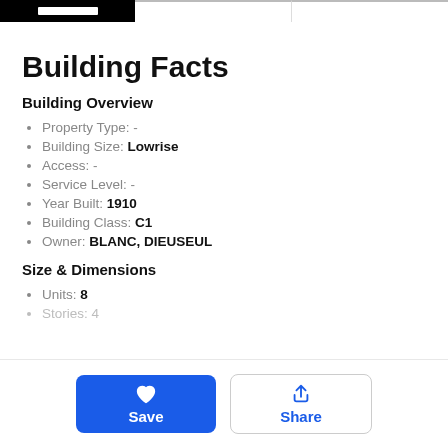Building Facts page header navigation bar
Building Facts
Building Overview
Property Type: -
Building Size: Lowrise
Access: -
Service Level: -
Year Built: 1910
Building Class: C1
Owner: BLANC, DIEUSEUL
Size & Dimensions
Units: 8
Stories: 4